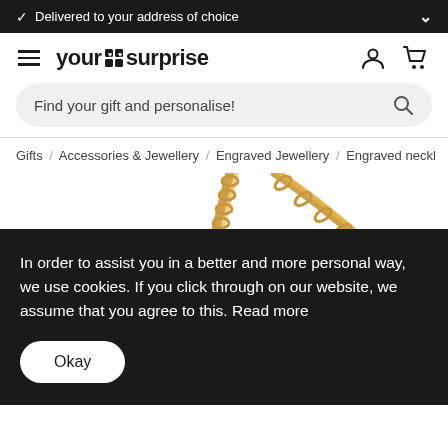✓ Delivered to your address of choice
[Figure (logo): your surprise logo with hamburger menu, user icon, and cart icon]
Find your gift and personalise!
Gifts / Accessories & Jewellery / Engraved Jewellery / Engraved neckl
[Figure (photo): Gold chain necklace product photo, partially visible]
In order to assist you in a better and more personal way, we use cookies. If you click through on our website, we assume that you agree to this. Read more
Okay